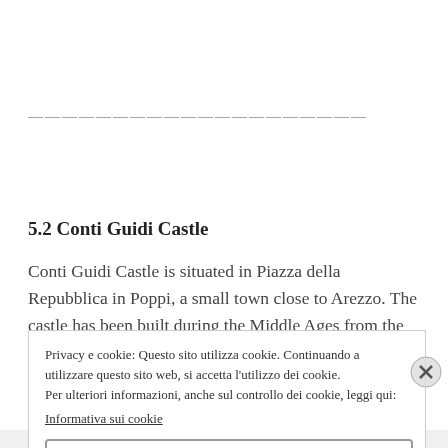——————————————————————————
5.2 Conti Guidi Castle
Conti Guidi Castle is situated in Piazza della Repubblica in Poppi, a small town close to Arezzo. The castle has been built during the Middle Ages from the will of Count Simone Guidi and his son
Privacy e cookie: Questo sito utilizza cookie. Continuando a utilizzare questo sito web, si accetta l'utilizzo dei cookie. Per ulteriori informazioni, anche sul controllo dei cookie, leggi qui: Informativa sui cookie
Chiudi e accetta